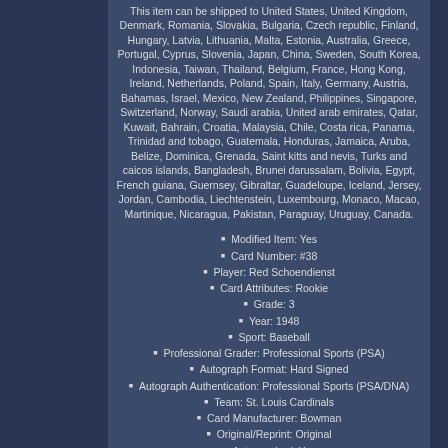This item can be shipped to United States, United Kingdom, Denmark, Romania, Slovakia, Bulgaria, Czech republic, Finland, Hungary, Latvia, Lithuania, Malta, Estonia, Australia, Greece, Portugal, Cyprus, Slovenia, Japan, China, Sweden, South Korea, Indonesia, Taiwan, Thailand, Belgium, France, Hong Kong, Ireland, Netherlands, Poland, Spain, Italy, Germany, Austria, Bahamas, Israel, Mexico, New Zealand, Philippines, Singapore, Switzerland, Norway, Saudi arabia, United arab emirates, Qatar, Kuwait, Bahrain, Croatia, Malaysia, Chile, Costa rica, Panama, Trinidad and tobago, Guatemala, Honduras, Jamaica, Aruba, Belize, Dominica, Grenada, Saint kitts and nevis, Turks and caicos islands, Bangladesh, Brunei darussalam, Bolivia, Egypt, French guiana, Guernsey, Gibraltar, Guadeloupe, Iceland, Jersey, Jordan, Cambodia, Liechtenstein, Luxembourg, Monaco, Macao, Martinique, Nicaragua, Pakistan, Paraguay, Uruguay, Canada.
Modified Item: Yes
Card Number: #38
Player: Red Schoendienst
Card Attributes: Rookie
Grade: 3
Year: 1948
Sport: Baseball
Professional Grader: Professional Sports (PSA)
Autograph Format: Hard Signed
Autograph Authentication: Professional Sports (PSA/DNA)
Team: St. Louis Cardinals
Card Manufacturer: Bowman
Original/Reprint: Original
Autographed: Yes